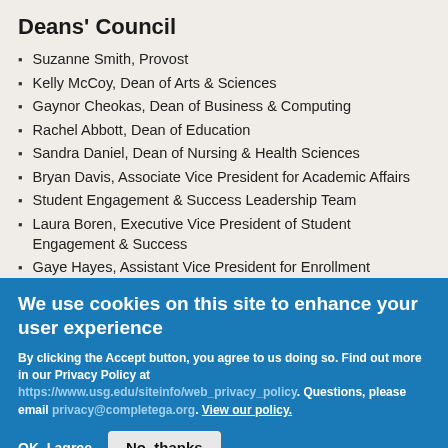Deans' Council
Suzanne Smith, Provost
Kelly McCoy, Dean of Arts & Sciences
Gaynor Cheokas, Dean of Business & Computing
Rachel Abbott, Dean of Education
Sandra Daniel, Dean of Nursing & Health Sciences
Bryan Davis, Associate Vice President for Academic Affairs
Student Engagement & Success Leadership Team
Laura Boren, Executive Vice President of Student Engagement & Success
Gaye Hayes, Assistant Vice President for Enrollment Management
We use cookies on this site to enhance your user experience
By clicking the Accept button, you agree to us doing so. Find out more in our Privacy Policy at https://www.usg.edu/siteinfo/web_privacy_policy. Questions, please email privacy@completega.org. View our policy.
OK, I agree | No, thanks